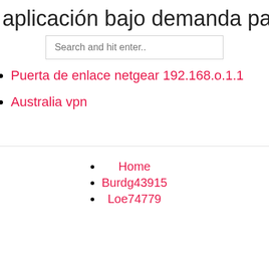aplicación bajo demanda para lg sm
[Figure (other): Search input box with placeholder text 'Search and hit enter..']
Puerta de enlace netgear 192.168.o.1.1
Australia vpn
Home
Burdg43915
Loe74779